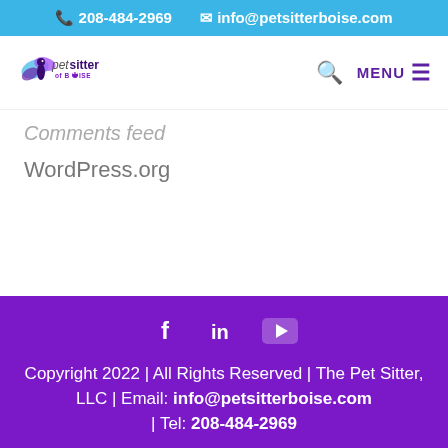📞 208-484-2969  ✉ info@petsitterboise.com
[Figure (logo): The Pet Sitter of Boise logo with colorful bird/butterfly and text in purple and blue]
Comments feed
WordPress.org
Copyright 2022 | All Rights Reserved | The Pet Sitter, LLC | Email: info@petsitterboise.com | Tel: 208-484-2969